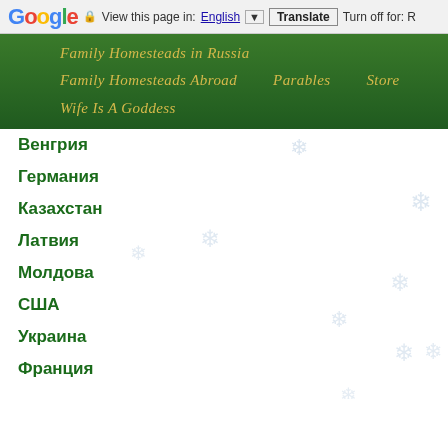Google | View this page in: English | Translate | Turn off for: R
[Figure (screenshot): Green navigation bar with links: Family Homesteads in Russia, Family Homesteads Abroad, Parables, Store, Wife Is A Goddess]
Венгрия
Германия
Казахстан
Латвия
Молдова
США
Украина
Франция